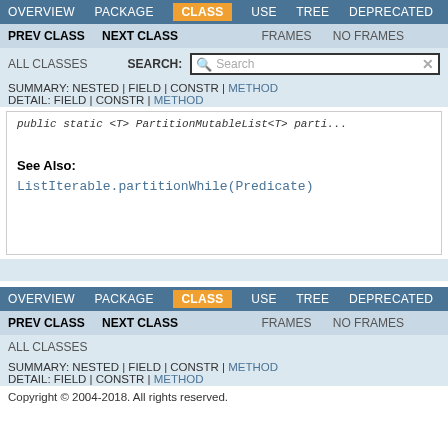OVERVIEW  PACKAGE  CLASS  USE  TREE  DEPRECATED
PREV CLASS  NEXT CLASS  FRAMES  NO FRAMES
ALL CLASSES  SEARCH:
SUMMARY: NESTED | FIELD | CONSTR | METHOD
DETAIL: FIELD | CONSTR | METHOD
public static <T> PartitionMutableList<T> parti...
See Also:
ListIterable.partitionWhile(Predicate)
OVERVIEW  PACKAGE  CLASS  USE  TREE  DEPRECATED
PREV CLASS  NEXT CLASS  FRAMES  NO FRAMES
ALL CLASSES
SUMMARY: NESTED | FIELD | CONSTR | METHOD
DETAIL: FIELD | CONSTR | METHOD
Copyright © 2004-2018. All rights reserved.